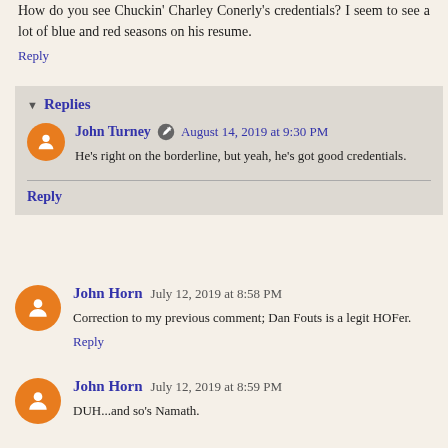How do you see Chuckin' Charley Conerly's credentials? I seem to see a lot of blue and red seasons on his resume.
Reply
Replies
John Turney  August 14, 2019 at 9:30 PM
He's right on the borderline, but yeah, he's got good credentials.
Reply
John Horn  July 12, 2019 at 8:58 PM
Correction to my previous comment; Dan Fouts is a legit HOFer.
Reply
John Horn  July 12, 2019 at 8:59 PM
DUH...and so's Namath.